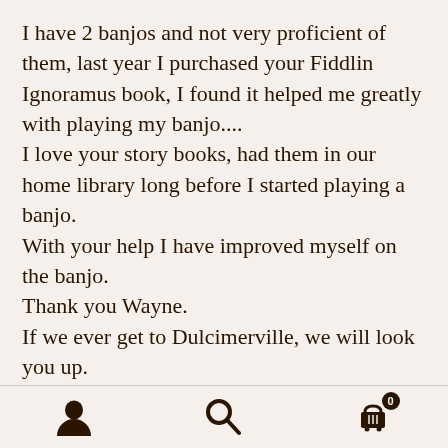I have 2 banjos and not very proficient of them, last year I purchased your Fiddlin Ignoramus book, I found it helped me greatly with playing my banjo....
I love your story books, had them in our home library long before I started playing a banjo.
With your help I have improved myself on the banjo.
Thank you Wayne.
If we ever get to Dulcimerville, we will look you up.
[user icon] [search icon] [cart icon with badge 0]